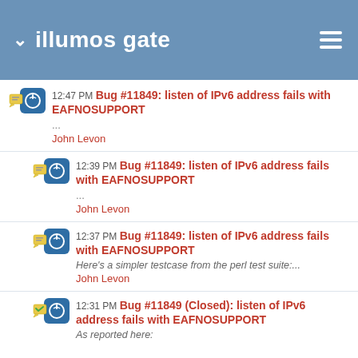illumos gate
12:47 PM Bug #11849: listen of IPv6 address fails with EAFNOSUPPORT
...
John Levon
12:39 PM Bug #11849: listen of IPv6 address fails with EAFNOSUPPORT
...
John Levon
12:37 PM Bug #11849: listen of IPv6 address fails with EAFNOSUPPORT
Here's a simpler testcase from the perl test suite:...
John Levon
12:31 PM Bug #11849 (Closed): listen of IPv6 address fails with EAFNOSUPPORT
As reported here: